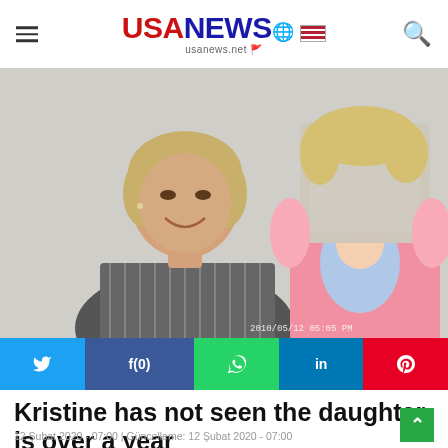USA NEWS | usanews.net
[Figure (photo): A smiling blonde woman holding a young child whose face is blurred. The child is wearing a pink t-shirt with a cartoon character. A timestamp watermark is partially visible at the bottom right of the image.]
y  f(0)  ©  in  p
Kristine has not seen the daughter is over a year
12 Şubat 2020 - 07:00 | Güncelleme: 12 Şubat 2020 - 07:00